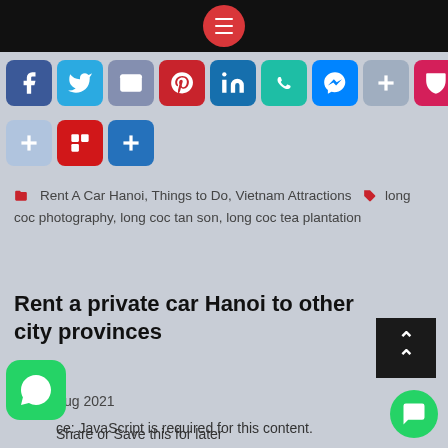[Figure (screenshot): Top black navigation bar with red circular menu icon containing three white horizontal lines]
[Figure (infographic): Row of social media share buttons: Facebook, Twitter, Email, Pinterest, LinkedIn, WhatsApp, Messenger, Plus, Pocket]
[Figure (infographic): Second row of social share buttons: light Plus, Flipboard, Share blue Plus]
Rent A Car Hanoi, Things to Do, Vietnam Attractions    long coc photography, long coc tan son, long coc tea plantation
Rent a private car Hanoi to other city provinces
01 Aug 2021
ce: JavaScript is required for this content.
Share or Save this for later